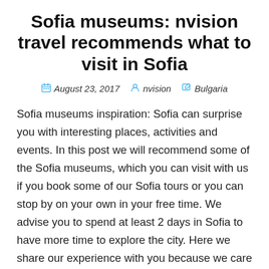Sofia museums: nvision travel recommends what to visit in Sofia
August 23, 2017   nvision   Bulgaria
Sofia museums inspiration: Sofia can surprise you with interesting places, activities and events. In this post we will recommend some of the Sofia museums, which you can visit with us if you book some of our Sofia tours or you can stop by on your own in your free time. We advise you to spend at least 2 days in Sofia to have more time to explore the city. Here we share our experience with you because we care for